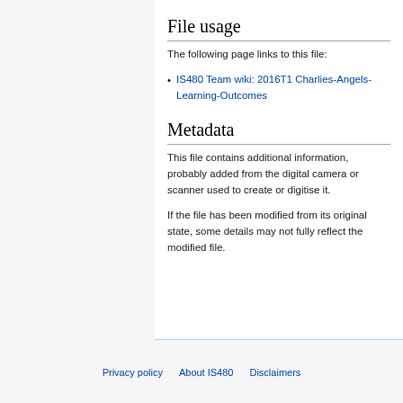File usage
The following page links to this file:
IS480 Team wiki: 2016T1 Charlies-Angels-Learning-Outcomes
Metadata
This file contains additional information, probably added from the digital camera or scanner used to create or digitise it.
If the file has been modified from its original state, some details may not fully reflect the modified file.
Privacy policy   About IS480   Disclaimers